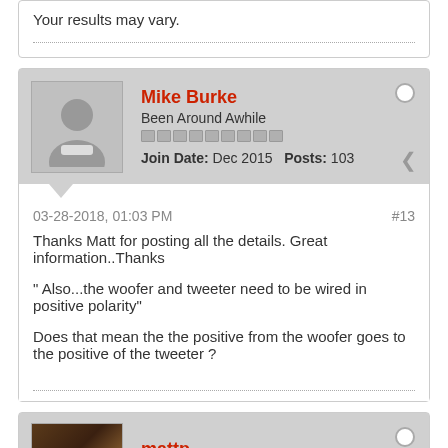Your results may vary.
Mike Burke
Been Around Awhile
Join Date: Dec 2015  Posts: 103
03-28-2018, 01:03 PM
#13
Thanks Matt for posting all the details. Great information..Thanks

" Also...the woofer and tweeter need to be wired in positive polarity"

Does that mean the the positive from the woofer goes to the positive of the tweeter ?
mattp
Administrator